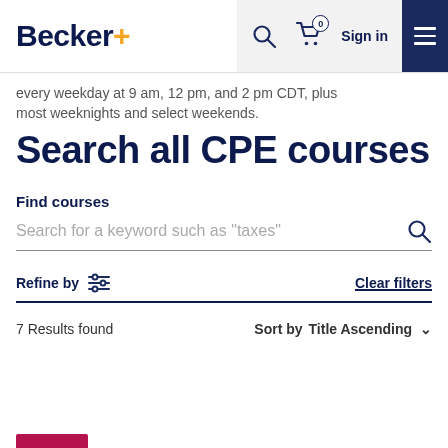Becker+ — navigation bar with search, cart (0), Sign in, and menu
every weekday at 9 am, 12 pm, and 2 pm CDT, plus most weeknights and select weekends.
Search all CPE courses
Find courses
Search for a keyword such as "taxes"
Refine by   Clear filters
7 Results found   Sort by   Title Ascending